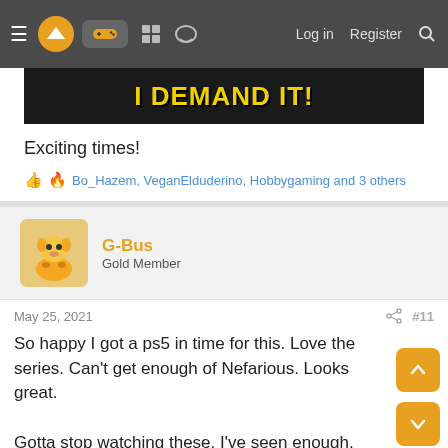Navigation bar with hamburger menu, logo, gamepad icon, forum icons, Log in, Register, Search
[Figure (screenshot): Meme image with dark background and yellow bold text reading 'I DEMAND IT!']
Exciting times!
👍 🔥 Bo_Hazem, VeganElduderino, Hobbygaming and 3 others
G-Bus
Gold Member
May 25, 2021
#11
So happy I got a ps5 in time for this. Love the series. Can't get enough of Nefarious. Looks great.

Gotta stop watching these. I've seen enough.
👍 🔥 Bo_Hazem, Hobbygaming, N1tr0sOx1d3 and 2 others